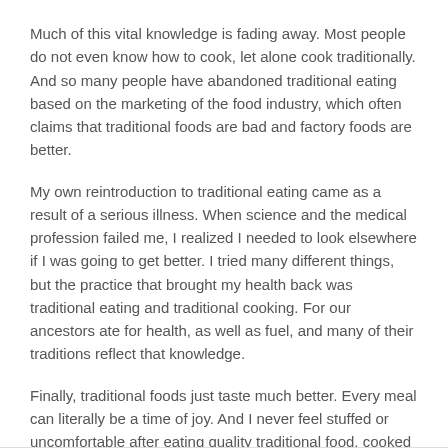Much of this vital knowledge is fading away. Most people do not even know how to cook, let alone cook traditionally. And so many people have abandoned traditional eating based on the marketing of the food industry, which often claims that traditional foods are bad and factory foods are better.
My own reintroduction to traditional eating came as a result of a serious illness. When science and the medical profession failed me, I realized I needed to look elsewhere if I was going to get better. I tried many different things, but the practice that brought my health back was traditional eating and traditional cooking. For our ancestors ate for health, as well as fuel, and many of their traditions reflect that knowledge.
Finally, traditional foods just taste much better. Every meal can literally be a time of joy. And I never feel stuffed or uncomfortable after eating quality traditional food, cooked properly. I feel happy and satiated.
August 11, 2015